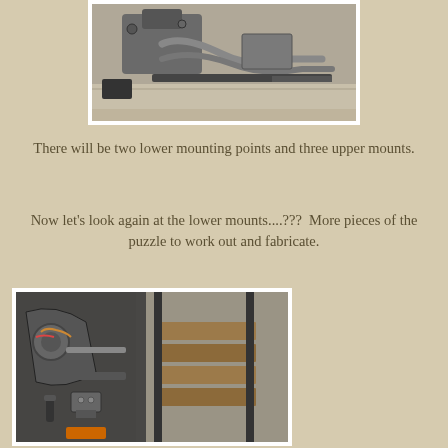[Figure (photo): Close-up photo of a motorcycle engine bay showing exhaust pipes, frame rails, and workshop floor. Shows mounting area for fabrication work.]
There will be two lower mounting points and three upper mounts.
Now let's look again at the lower mounts....???  More pieces of the puzzle to work out and fabricate.
[Figure (photo): Photo of motorcycle lower frame area showing lower mount points, exhaust system components, and workshop stand/jig with wood planks visible.]